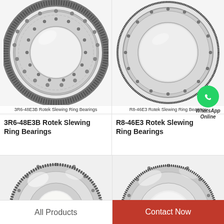[Figure (photo): 3R6-48E3B Rotek slewing ring bearing - circular metallic bearing with gear teeth on outer edge, multiple bolt holes]
3R6-48E3B Rotek Slewing Ring Bearings
3R6-48E3B Rotek Slewing Ring Bearings
[Figure (photo): R8-46E3 Rotek slewing ring bearing - circular metallic bearing with gear teeth on outer edge with WhatsApp icon overlay]
R8-46E3 Rotek Slewing Ring Bearings
R8-46E3 Rotek Slewing Ring Bearings
[Figure (photo): Partial view of a slewing ring bearing - bottom left product]
[Figure (photo): Partial view of a slewing ring bearing - bottom right product]
All Products
Contact Now